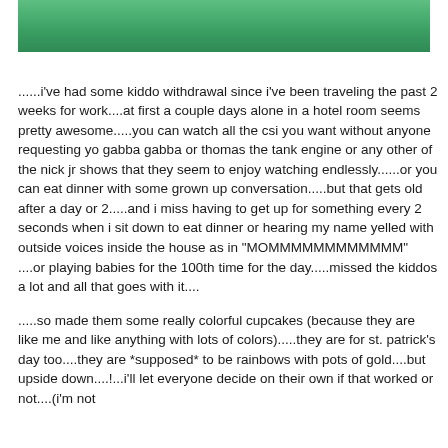[Figure (photo): Partial photo showing green background, cropped at top of page]
......i've had some kiddo withdrawal since i've been traveling the past 2 weeks for work....at first a couple days alone in a hotel room seems pretty awesome.....you can watch all the csi you want without anyone requesting yo gabba gabba or thomas the tank engine or any other of the nick jr shows that they seem to enjoy watching endlessly......or you can eat dinner with some grown up conversation.....but that gets old after a day or 2.....and i miss having to get up for something every 2 seconds when i sit down to eat dinner or hearing my name yelled with outside voices inside the house as in "MOMMMMMMMMMMMM" ....or playing babies for the 100th time for the day.....missed the kiddos a lot and all that goes with it....
.....so made them some really colorful cupcakes (because they are like me and like anything with lots of colors).....they are for st. patrick's day too....they are *supposed* to be rainbows with pots of gold....but upside down....!...i'll let everyone decide on their own if that worked or not....(i'm not